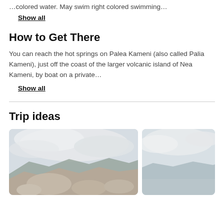…colored water. May swim right colored swimming…
Show all
How to Get There
You can reach the hot springs on Palea Kameni (also called Palia Kameni), just off the coast of the larger volcanic island of Nea Kameni, by boat on a private…
Show all
Trip ideas
[Figure (photo): Landscape photo showing rocky terrain with cloudy sky, partial view]
[Figure (photo): Partial landscape photo on the right side, light sky tones]